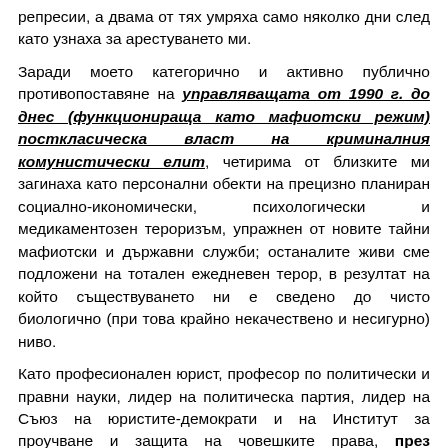репресии, а двама от тях умряха само няколко дни след като узнаха за арестуването ми.
Заради моето категорично и активно публично противопоставяне на управляващата от 1990 г. до днес (функционираща като мафиотски режим) посткласическа власт на криминалния комунистически елит, четирима от близките ми загинаха като персонални обекти на прецизно планиран социално-икономически, психологически и медикаментозен тероризъм, упражнен от новите тайни мафиотски и държавни служби; останалите живи сме подложени на тотален ежедневен терор, в резултат на който съществуването ни е сведено до чисто биологично (при това крайно некачествено и несигурно) ниво.
Като професионален юрист, професор по политически и правни науки, лидер на политическа партия, лидер на Съюз на юристите-демократи и на Институт за проучване и защита на човешките права, през последните 16 (шестнадесет) години съм депозирал в офиса на Главния прокурор повече от 370 конкретни искания за разследване на прецизно